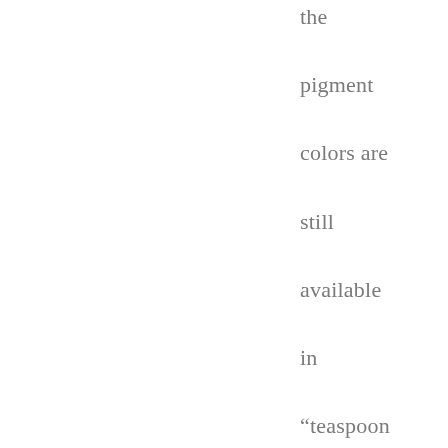the pigment colors are still available in “teaspoon” size (which is between $1 and $2). Hope that helps!